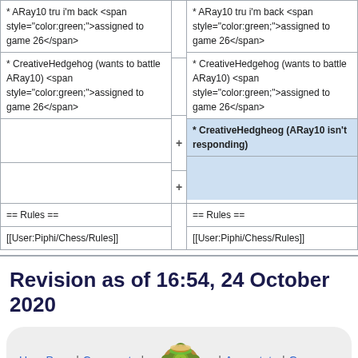* ARay10 tru i'm back <span style="color:green;">assigned to game 26</span>
* CreativeHedgehog (wants to battle ARay10) <span style="color:green;">assigned to game 26</span>
* CreativeHedgheog (ARay10 isn't responding)
== Rules ==
[[User:Piphi/Chess/Rules]]
Revision as of 16:54, 24 October 2020
User Page | Comments | Asymptote | Games